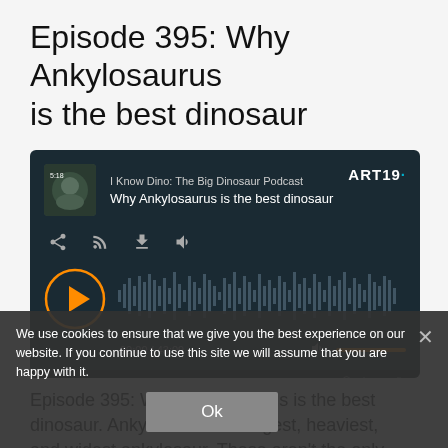Episode 395: Why Ankylosaurus is the best dinosaur
[Figure (screenshot): ART19 podcast audio player for 'I Know Dino: The Big Dinosaur Podcast' episode 'Why Ankylosaurus is the best dinosaur'. Shows play button, waveform, time 00:00 / 43:09, and volume control.]
We use cookies to ensure that we give you the best experience on our website. If you continue to use this site we will assume that you are happy with it.
Ok
Episode 395: Why Ankylosaurus is the best dinosaur. Ankylosaurus is longest, heaviest, and widest ankylosaur. These aren't the only details that make Ankylosaurus such a special dinosaur.